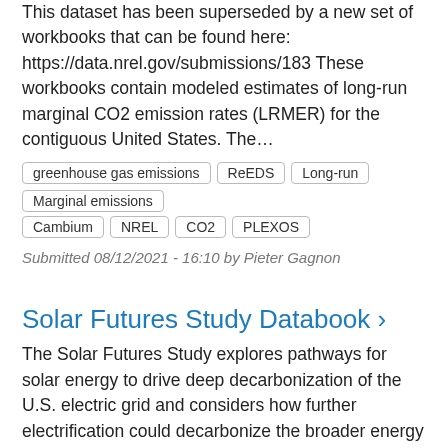This dataset has been superseded by a new set of workbooks that can be found here: https://data.nrel.gov/submissions/183 These workbooks contain modeled estimates of long-run marginal CO2 emission rates (LRMER) for the contiguous United States. The…
greenhouse gas emissions | ReEDS | Long-run | Marginal emissions | Cambium | NREL | CO2 | PLEXOS
Submitted 08/12/2021 - 16:10 by Pieter Gagnon
Solar Futures Study Databook ›
The Solar Futures Study explores pathways for solar energy to drive deep decarbonization of the U.S. electric grid and considers how further electrification could decarbonize the broader energy system. This workbook contains data behind most figures…
solar | rooftop solar | utility-scale solar | concentrating solar power